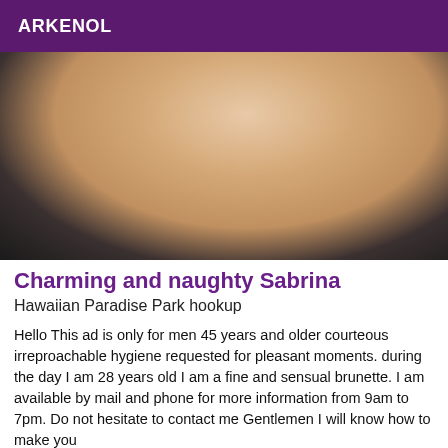ARKENOL
[Figure (photo): Close-up photo of a person's shoulder and neck area, wearing a dark top, skin-toned background]
Charming and naughty Sabrina
Hawaiian Paradise Park hookup
Hello This ad is only for men 45 years and older courteous irreproachable hygiene requested for pleasant moments. during the day I am 28 years old I am a fine and sensual brunette. I am available by mail and phone for more information from 9am to 7pm. Do not hesitate to contact me Gentlemen I will know how to make you